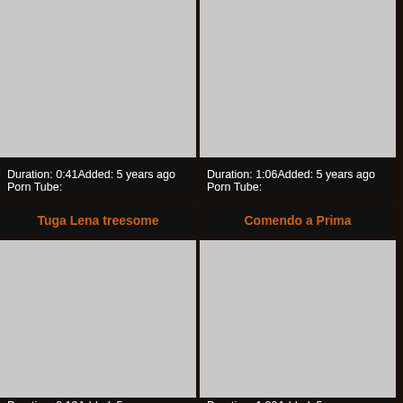[Figure (photo): Gray placeholder thumbnail top left]
[Figure (photo): Gray placeholder thumbnail top right]
Duration: 0:41Added: 5 years ago
Porn Tube:
Duration: 1:06Added: 5 years ago
Porn Tube:
Tuga Lena treesome
Comendo a Prima
[Figure (photo): Gray placeholder thumbnail bottom left]
[Figure (photo): Gray placeholder thumbnail bottom right]
Duration: 0:13Added: 5 years ago
Duration: 1:20Added: 5 years ago